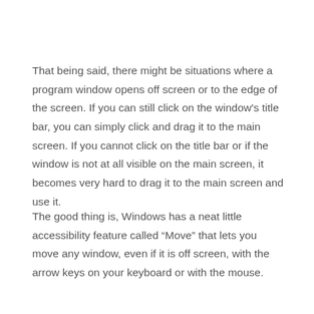That being said, there might be situations where a program window opens off screen or to the edge of the screen. If you can still click on the window's title bar, you can simply click and drag it to the main screen. If you cannot click on the title bar or if the window is not at all visible on the main screen, it becomes very hard to drag it to the main screen and use it.
The good thing is, Windows has a neat little accessibility feature called “Move” that lets you move any window, even if it is off screen, with the arrow keys on your keyboard or with the mouse.